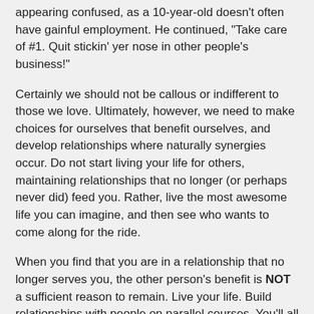appearing confused, as a 10-year-old doesn't often have gainful employment. He continued, "Take care of #1. Quit stickin' yer nose in other people's business!"
Certainly we should not be callous or indifferent to those we love. Ultimately, however, we need to make choices for ourselves that benefit ourselves, and develop relationships where naturally synergies occur. Do not start living your life for others, maintaining relationships that no longer (or perhaps never did) feed you. Rather, live the most awesome life you can imagine, and then see who wants to come along for the ride.
When you find that you are in a relationship that no longer serves you, the other person's benefit is NOT a sufficient reason to remain. Live your life. Build relationships with people on parallel courses. You'll all be happier. Fundamentally, this step is all about claiming your power and making a decision. I'm going to do this. All that's left is figuring out the "how".